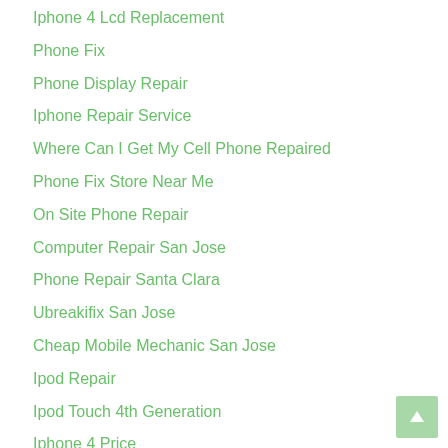Iphone 4 Lcd Replacement
Phone Fix
Phone Display Repair
Iphone Repair Service
Where Can I Get My Cell Phone Repaired
Phone Fix Store Near Me
On Site Phone Repair
Computer Repair San Jose
Phone Repair Santa Clara
Ubreakifix San Jose
Cheap Mobile Mechanic San Jose
Ipod Repair
Ipod Touch 4th Generation
Iphone 4 Price